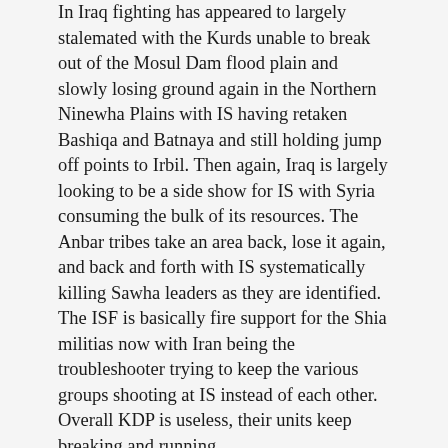In Iraq fighting has appeared to largely stalemated with the Kurds unable to break out of the Mosul Dam flood plain and slowly losing ground again in the Northern Ninewha Plains with IS having retaken Bashiqa and Batnaya and still holding jump off points to Irbil. Then again, Iraq is largely looking to be a side show for IS with Syria consuming the bulk of its resources. The Anbar tribes take an area back, lose it again, and back and forth with IS systematically killing Sawha leaders as they are identified. The ISF is basically fire support for the Shia militias now with Iran being the troubleshooter trying to keep the various groups shooting at IS instead of each other.
Overall KDP is useless, their units keep breaking and running.
YPG/PKK are tough light infantry, but get massacred in a straight fight with IS and Turkey sees them as worse terrorists than IS.
PUK and PJAK are Iranian subsidiaries wielding ex-Iranian-ex-American equipment and following Iran’s line.